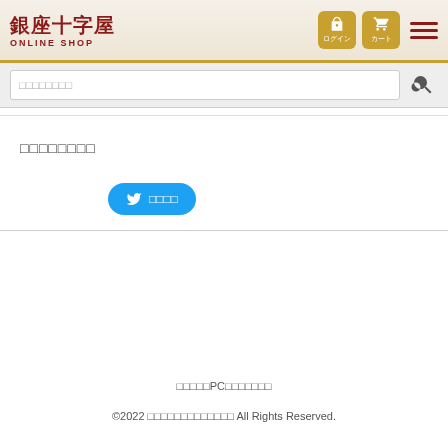銀座十字屋 ONLINE SHOP
□□□□□□□□
□□□□□□□□
[Figure (screenshot): Twitter share button with bird icon]
□□□□□PCで□□□□□□
©2022 □□□□□□□□□□□□□ All Rights Reserved.